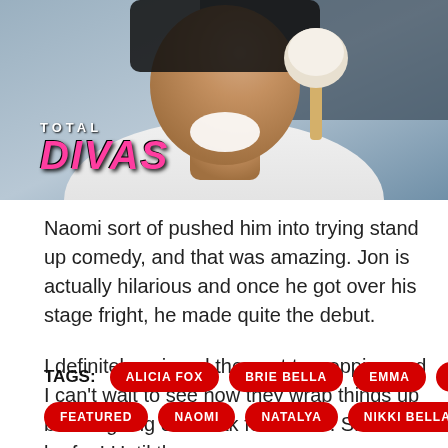[Figure (photo): A man smiling and eating an ice cream bar, with the Total Divas TV show logo overlaid in the bottom-left corner.]
Naomi sort of pushed him into trying stand up comedy, and that was amazing. Jon is actually hilarious and once he got over his stage fright, he made quite the debut.
I definitely enjoyed the past two eppies and I can't wait to see how they wrap things up before going on break for awhile. Should be fun! Until then....
TAGS: ALICIA FOX BRIE BELLA EMMA EVA MARIE FEATURED NAOMI NATALYA NIKKI BELLA PAIGE